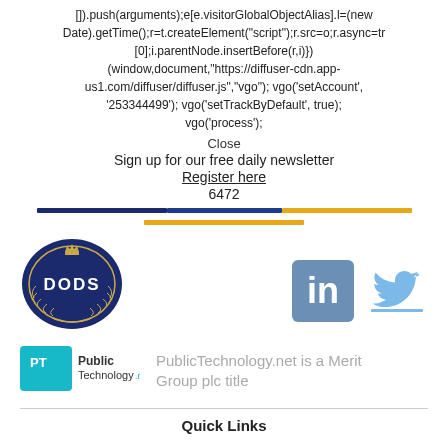[]).push(arguments);e[e.visitorGlobalObjectAlias].l=(new Date).getTime();r=t.createElement("script");r.src=o;r.async=tr [0];i.parentNode.insertBefore(r,i)}) (window,document,"https://diffuser-cdn.app-us1.com/diffuser/diffuser.js","vgo"); vgo('setAccount', '253344499'); vgo('setTrackByDefault', true); vgo('process');
Close
Sign up for our free daily newsletter
Register here
6472
[Figure (other): DODS logo - dark navy oval with laurel wreath and crown]
[Figure (logo): LinkedIn icon - blue square with white 'in' text]
[Figure (logo): Twitter bird icon]
[Figure (logo): PublicTechnology.net logo - teal PT badge with text]
PublicTechnology.net is a Merit Group plc title
Quick Links